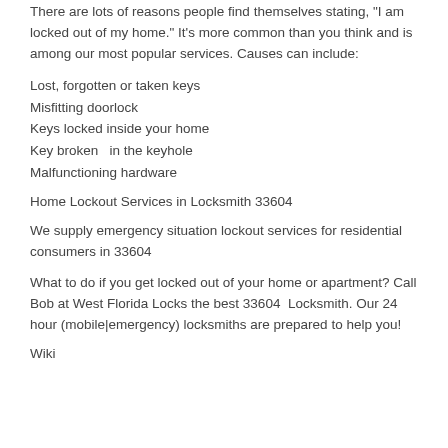There are lots of reasons people find themselves stating, “I am locked out of my home.” It’s more common than you think and is among our most popular services. Causes can include:
Lost, forgotten or taken keys
Misfitting doorlock
Keys locked inside your home
Key broken  in the keyhole
Malfunctioning hardware
Home Lockout Services in Locksmith 33604
We supply emergency situation lockout services for residential consumers in 33604
What to do if you get locked out of your home or apartment? Call Bob at West Florida Locks the best 33604  Locksmith. Our 24 hour (mobile|emergency) locksmiths are prepared to help you!
Wiki